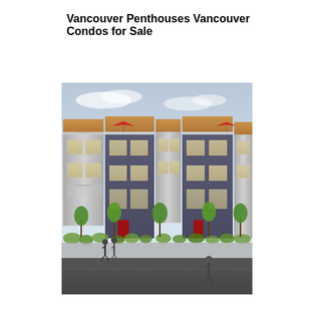Vancouver Penthouses
Vancouver Condos for Sale
[Figure (photo): Exterior rendering of a modern multi-story residential building with dark grey/purple facade, large windows, rooftop terraces with red umbrellas, ground-floor red entry doors, landscaped trees and shrubs along the sidewalk, pedestrians walking in front.]